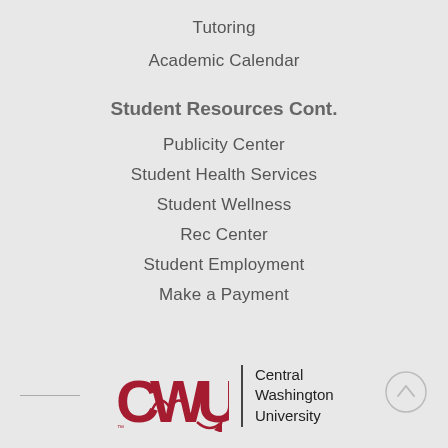Tutoring
Academic Calendar
Student Resources Cont.
Publicity Center
Student Health Services
Student Wellness
Rec Center
Student Employment
Make a Payment
[Figure (logo): CWU (Central Washington University) logo with red block letters CWU and a vertical divider line followed by text 'Central Washington University']